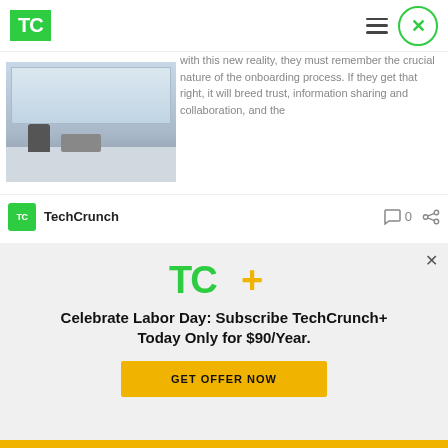TechCrunch
[Figure (photo): Office interior with what appears to be a drone or robot in a large windowed space with reflective floor]
with this new reality, they must remember the crucial nature of the onboarding process. If they get that right, it will breed trust, information sharing and collaboration, and the organization will see their systems improve ad infinitum.
TechCrunch  0
[Figure (logo): TechCrunch+ logo with TC in green and + in yellow/gold]
Celebrate Labor Day: Subscribe TechCrunch+ Today Only for $90/Year.
GET OFFER NOW